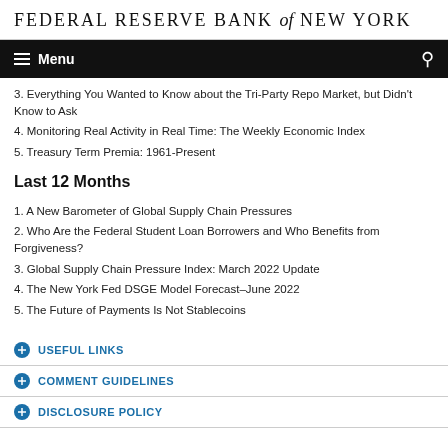FEDERAL RESERVE BANK of NEW YORK
3. Everything You Wanted to Know about the Tri-Party Repo Market, but Didn't Know to Ask
4. Monitoring Real Activity in Real Time: The Weekly Economic Index
5. Treasury Term Premia: 1961-Present
Last 12 Months
1. A New Barometer of Global Supply Chain Pressures
2. Who Are the Federal Student Loan Borrowers and Who Benefits from Forgiveness?
3. Global Supply Chain Pressure Index: March 2022 Update
4. The New York Fed DSGE Model Forecast–June 2022
5. The Future of Payments Is Not Stablecoins
USEFUL LINKS
COMMENT GUIDELINES
DISCLOSURE POLICY